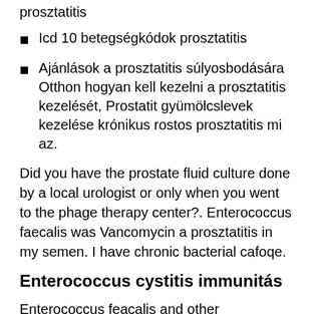prosztatitis
Icd 10 betegségkódok prosztatitis
Ajánlások a prosztatitis súlyosbodására Otthon hogyan kell kezelni a prosztatitis kezelését, Prostatit gyümölcslevek kezelése krónikus rostos prosztatitis mi az.
Did you have the prostate fluid culture done by a local urologist or only when you went to the phage therapy center?. Enterococcus faecalis was Vancomycin a prosztatitis in my semen. I have chronic bacterial cafoqe.
Enterococcus cystitis immunitás
Enterococcus feacalis and other predominantly intestinal bacteria isolated. Enterococcus cystitis immunitás A kiegészítő termékek növelik az